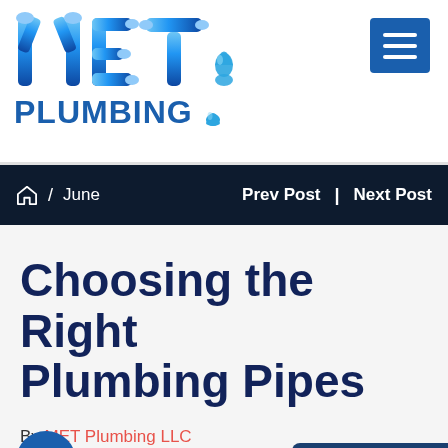[Figure (logo): MET Plumbing logo with stylized pipe letters and blue water drop, and hamburger menu button in top right]
🏠 / June   Prev Post | Next Post
Choosing the Right Plumbing Pipes
By MET Plumbing LLC
June 08, 2020